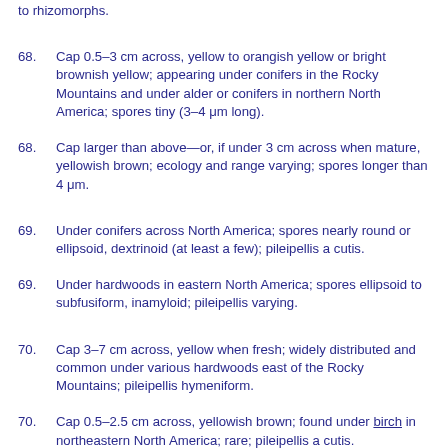to rhizomorphs.
68. Cap 0.5–3 cm across, yellow to orangish yellow or bright brownish yellow; appearing under conifers in the Rocky Mountains and under alder or conifers in northern North America; spores tiny (3–4 μm long).
68. Cap larger than above—or, if under 3 cm across when mature, yellowish brown; ecology and range varying; spores longer than 4 μm.
69. Under conifers across North America; spores nearly round or ellipsoid, dextrinoid (at least a few); pileipellis a cutis.
69. Under hardwoods in eastern North America; spores ellipsoid to subfusiform, inamyloid; pileipellis varying.
70. Cap 3–7 cm across, yellow when fresh; widely distributed and common under various hardwoods east of the Rocky Mountains; pileipellis hymeniform.
70. Cap 0.5–2.5 cm across, yellowish brown; found under birch in northeastern North America; rare; pileipellis a cutis.